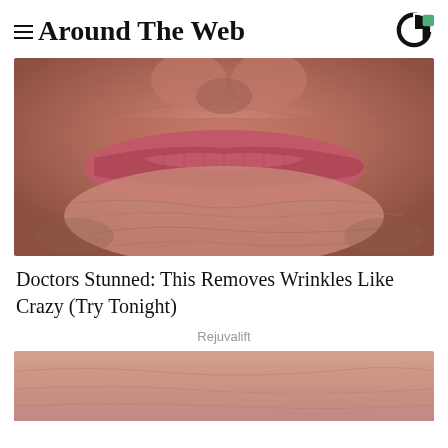Around The Web
[Figure (photo): Close-up photograph of an elderly person's lips and lower nose area showing wrinkled skin]
Doctors Stunned: This Removes Wrinkles Like Crazy (Try Tonight)
Rejuvalift
[Figure (photo): Partial close-up photograph of skin, second advertisement image cropped at bottom of page]